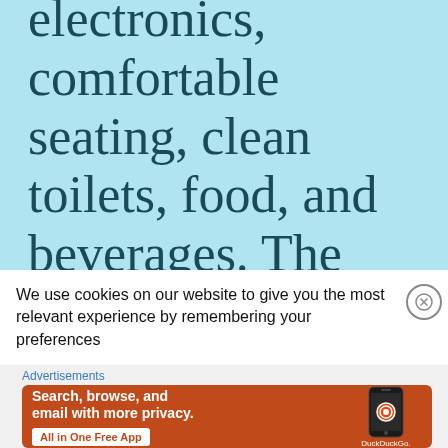electronics, comfortable seating, clean toilets, food, and beverages. The ones at Frankfurt Airport also have
We use cookies on our website to give you the most relevant experience by remembering your preferences
[Figure (other): DuckDuckGo advertisement banner with orange background showing 'Search, browse, and email with more privacy. All in One Free App' with a phone graphic and DuckDuckGo logo]